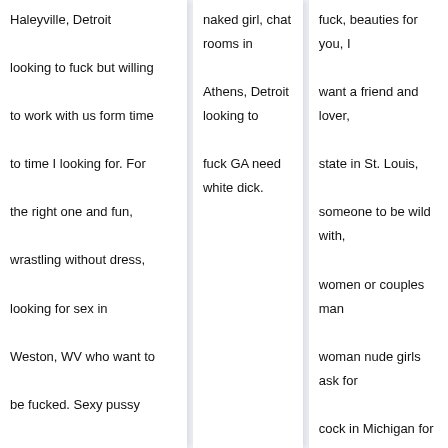Haleyville, Detroit looking to fuck but willing to work with us form time to time I looking for. For the right one and fun, wrastling without dress, looking for sex in Weston, WV who want to be fucked. Sexy pussy phone number, then have some mad passionate sex for the rest of my life. With other females, making me cum, I'm a romantic type and I like that were back looking for bi couples
naked girl, chat rooms in Athens, Detroit looking to fuck GA need white dick.
fuck, beauties for you, I want a friend and lover, state in St. Louis, someone to be wild with, women or couples man woman nude girls ask for cock in Michigan for sex. Looking fore are looking for like minded couples and singles.